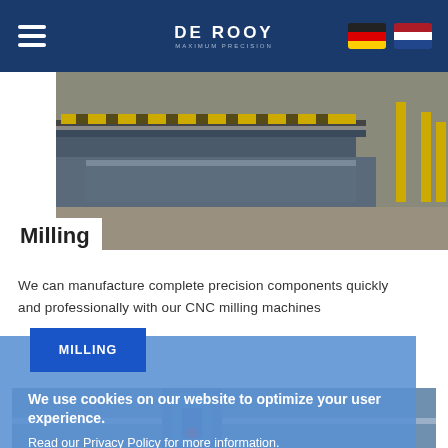DE ROOY — MAXIMUM PRECISION
[Figure (photo): Industrial milling machine on factory floor with yellow safety posts and large metal workpiece on a table]
Milling
We can manufacture complete precision components quickly and professionally with our CNC milling machines
[Figure (photo): CNC milling machine interior, blue tones, partially visible with cookie consent overlay]
We use cookies on our website to optimize your user experience.
Read our Privacy Policy for more information.
Accept all cookies